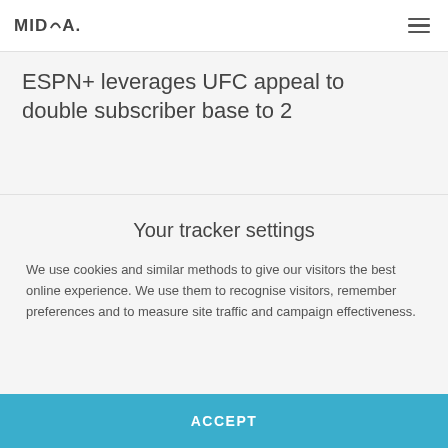MIDIA
ESPN+ leverages UFC appeal to double subscriber base to 2
Your tracker settings
We use cookies and similar methods to give our visitors the best online experience. We use them to recognise visitors, remember preferences and to measure site traffic and campaign effectiveness.
ACCEPT